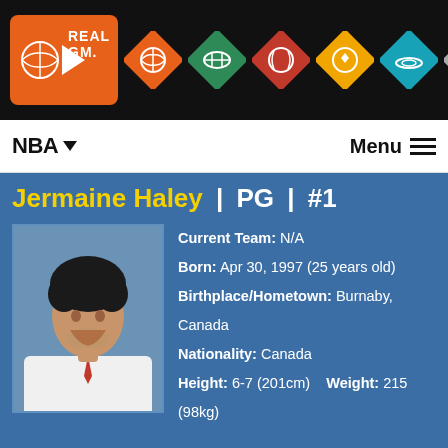[Figure (screenshot): RealGM website header with logo and sport navigation icons (basketball, football, baseball, soccer, hockey, etc.) on black background]
NBA▽   Menu ≡
Jermaine Haley | PG | #1
[Figure (photo): Headshot photo of Jermaine Haley, a young man with curly hair wearing a white shirt and red tie]
Current Team: N/A
Born: Apr 30, 1997 (25 years old)
Birthplace/Hometown: Burnaby, Canada
Nationality: Canada
Height: 6-7 (201cm)    Weight: 215 (98kg)
Current NBA Status: Unrestricted Free Agent
Agent: Andy Bountogianis
Draft Entry: 2020 NBA Draft
Drafted: Undrafted
Pre-Draft Team: West Virginia (SI)
High School: Sunrise Christian Academy [Wichita, Kansas (United States)]